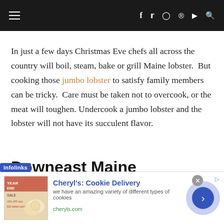Navigation bar with hamburger menu and social icons (f, twitter, instagram, pinterest, youtube, search)
In just a few days Christmas Eve chefs all across the country will boil, steam, bake or grill Maine lobster. But cooking those jumbo lobster to satisfy family members can be tricky. Care must be taken not to overcook, or the meat will toughen. Undercook a jumbo lobster and the lobster will not have its succulent flavor.
Downeast Maine Cooking Tips for
[Figure (screenshot): Advertisement overlay: Cheryl's Cookie Delivery ad with image, title, description, and circular arrow button. Infolinks badge visible. Close button shown.]